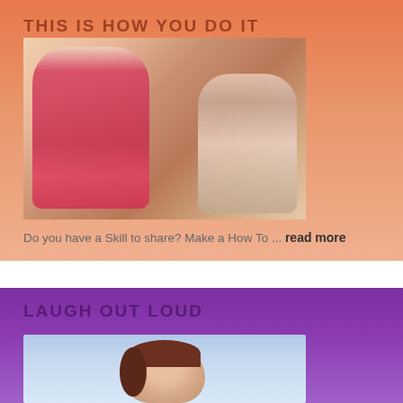THIS IS HOW YOU DO IT
[Figure (photo): Two young girls cooking together, mixing ingredients in a bowl, one in a pink shirt]
Do you have a Skill to share? Make a How To ... read more
LAUGH OUT LOUD
[Figure (photo): Woman with brown hair, partial face visible from top, against light blue background]